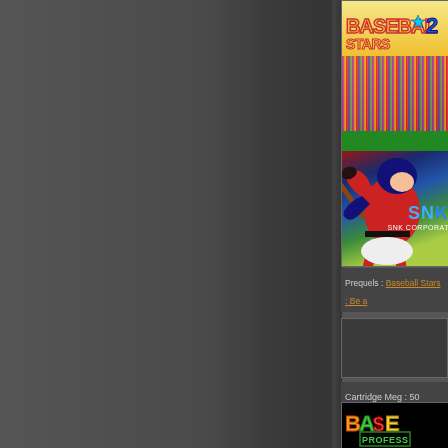[Figure (screenshot): Baseball Stars 2 SNK game cover art showing a batter in red uniform swinging, with crowd in background and SNK CORPORATION logo]
Prequels : Baseball Stars : Be a...
[Figure (screenshot): Small game image box, partially visible]
Cartridge Meg : 50
[Figure (screenshot): Baseball Stars Professional game title screen on black background showing colorful stylized text]